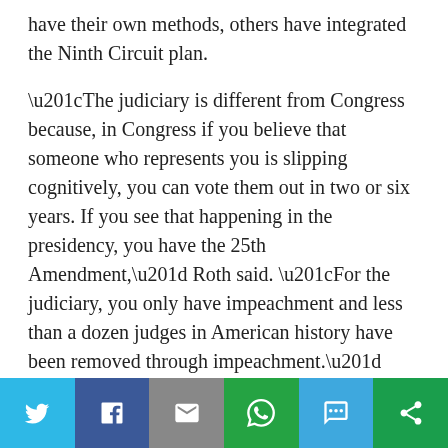have their own methods, others have integrated the Ninth Circuit plan.
“The judiciary is different from Congress because, in Congress if you believe that someone who represents you is slipping cognitively, you can vote them out in two or six years. If you see that happening in the presidency, you have the 25th Amendment,” Roth said. “For the judiciary, you only have impeachment and less than a dozen judges in American history have been removed through impeachment.”
Why This Is Important